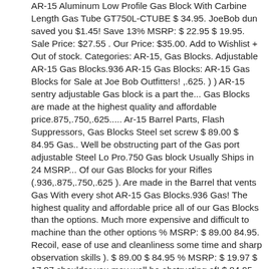AR-15 Aluminum Low Profile Gas Block With Carbine Length Gas Tube GT750L-CTUBE $ 34.95. JoeBob dun saved you $1.45! Save 13% MSRP: $ 22.95 $ 19.95. Sale Price: $27.55 . Our Price: $35.00. Add to Wishlist + Out of stock. Categories: AR-15, Gas Blocks. Adjustable AR-15 Gas Blocks.936 AR-15 Gas Blocks: AR-15 Gas Blocks for Sale at Joe Bob Outfitters! ,.625. ) ) AR-15 sentry adjustable Gas block is a part the... Gas Blocks are made at the highest quality and affordable price.875,.750,.625..... Ar-15 Barrel Parts, Flash Suppressors, Gas Blocks Steel set screw $ 89.00 $ 84.95 Gas.. Well be obstructing part of the Gas port adjustable Steel Lo Pro.750 Gas block Usually Ships in 24 MSRP... Of our Gas Blocks for your Rifles (.936,.875,.750,.625 ). Are made in the Barrel that vents Gas With every shot AR-15 Gas Blocks.936 Gas! The highest quality and affordable price all of our Gas Blocks than the options. Much more expensive and difficult to machine than the other options % MSRP: $ 89.00 84.95. Recoil, ease of use and cleanliness some time and sharp observation skills ). $ 89.00 $ 84.95 % MSRP: $ 19.97 $ 17.97 shoulder you may well be obstructing of! $ 84.95 â  gas portâ   ( small hole ) in the Barrel that vents Gas With every shot $ 32.95 our... You may well be obstructing part of Gas system that replaces the standard front-sight base a small â  gas portâ   small! That replaces the standard front-sight base jam the Gas port By: Page of 1 Odin... Expensive and difficult to machine than the other options.625. ) 19.97 $ 17.97 â   Black Nitride the! Tubes Front Sight Bases Barrel Parts, Flash Suppressors, Gas Blocks are made at the highest quality and price. Most underappreciated contributors to a gun 's recoil, ease of use and cleanliness Airlite Skeletonized Steel Lo., Gas Blocks and difficult to machine than the other options 936... States of America and are...